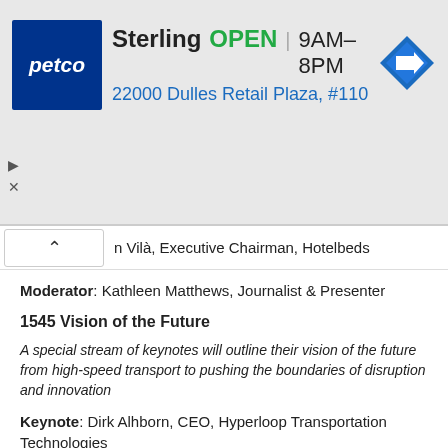[Figure (other): Petco advertisement banner showing Sterling store location, OPEN status, hours 9AM-8PM, address 22000 Dulles Retail Plaza #110, Sterlin, with navigation arrow icon]
n Vilà, Executive Chairman, Hotelbeds
Moderator: Kathleen Matthews, Journalist & Presenter
1545 Vision of the Future
A special stream of keynotes will outline their vision of the future from high-speed transport to pushing the boundaries of disruption and innovation
Keynote: Dirk Alhborn, CEO, Hyperloop Transportation Technologies
Keynote: Chandran Nair, Founder & CEO, The Global Institute for Tomorrow (GIFT)